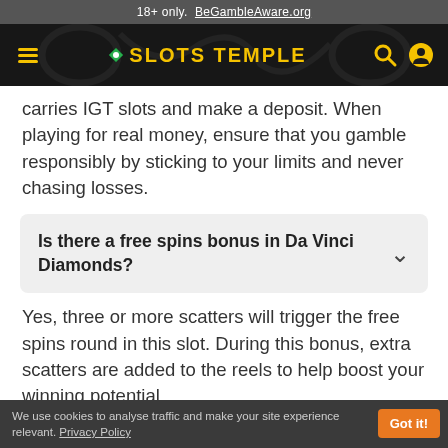18+ only. BeGambleAware.org
[Figure (logo): Slots Temple navigation bar with hamburger menu, logo, search and account icons on dark background]
carries IGT slots and make a deposit. When playing for real money, ensure that you gamble responsibly by sticking to your limits and never chasing losses.
Is there a free spins bonus in Da Vinci Diamonds?
Yes, three or more scatters will trigger the free spins round in this slot. During this bonus, extra scatters are added to the reels to help boost your winning potential.
We use cookies to analyse traffic and make your site experience relevant. Privacy Policy   Got it!